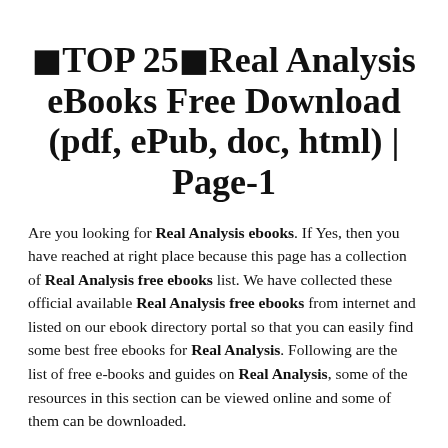⬛TOP 25⬛Real Analysis eBooks Free Download (pdf, ePub, doc, html) | Page-1
Are you looking for Real Analysis ebooks. If Yes, then you have reached at right place because this page has a collection of Real Analysis free ebooks list. We have collected these official available Real Analysis free ebooks from internet and listed on our ebook directory portal so that you can easily find some best free ebooks for Real Analysis. Following are the list of free e-books and guides on Real Analysis, some of the resources in this section can be viewed online and some of them can be downloaded.